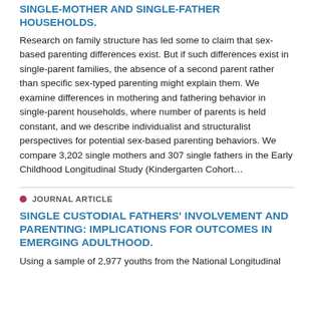SINGLE-MOTHER AND SINGLE-FATHER HOUSEHOLDS.
Research on family structure has led some to claim that sex-based parenting differences exist. But if such differences exist in single-parent families, the absence of a second parent rather than specific sex-typed parenting might explain them. We examine differences in mothering and fathering behavior in single-parent households, where number of parents is held constant, and we describe individualist and structuralist perspectives for potential sex-based parenting behaviors. We compare 3,202 single mothers and 307 single fathers in the Early Childhood Longitudinal Study (Kindergarten Cohort…
JOURNAL ARTICLE
SINGLE CUSTODIAL FATHERS' INVOLVEMENT AND PARENTING: IMPLICATIONS FOR OUTCOMES IN EMERGING ADULTHOOD.
Using a sample of 2,977 youths from the National Longitudinal